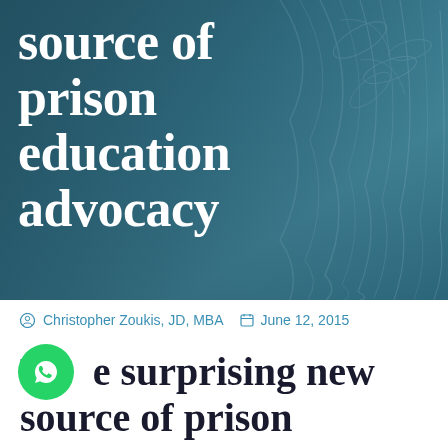[Figure (photo): Hero image with dark teal/blue overlay showing a fabric or leaf texture background. White large text overlaid reads 'source of prison education advocacy' (partial, top cut off).]
source of prison education advocacy
Christopher Zoukis, JD, MBA   June 12, 2015
The surprising new source of prison...